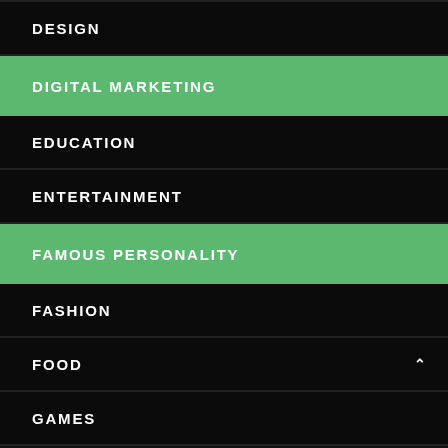DESIGN
DIGITAL MARKETING
EDUCATION
ENTERTAINMENT
FAMOUS PERSONALITY
FASHION
FOOD
GAMES